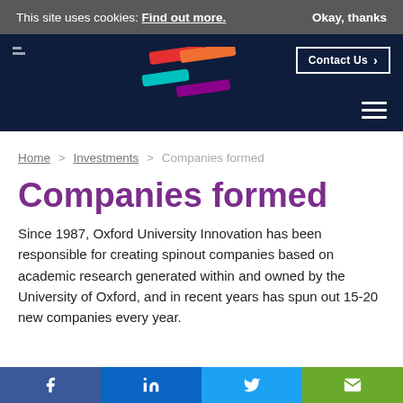This site uses cookies: Find out more. Okay, thanks
[Figure (screenshot): Oxford University Innovation website navigation header with dark navy background, colorful logo bars (red, orange, cyan, purple), Contact Us button, and hamburger menu icon]
Home > Investments > Companies formed
Companies formed
Since 1987, Oxford University Innovation has been responsible for creating spinout companies based on academic research generated within and owned by the University of Oxford, and in recent years has spun out 15-20 new companies every year.
Facebook LinkedIn Twitter Email social share buttons